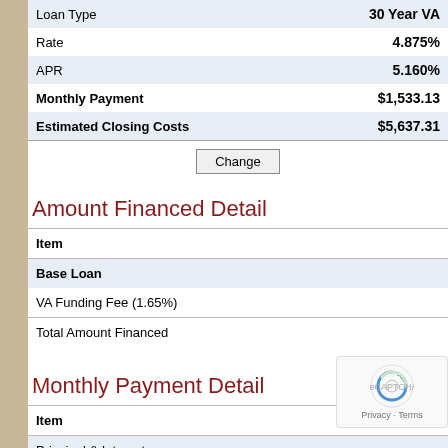|  |  |
| --- | --- |
| Loan Type | 30 Year VA |
| Rate | 4.875% |
| APR | 5.160% |
| Monthly Payment | $1,533.13 |
| Estimated Closing Costs | $5,637.31 |
Amount Financed Detail
| Item |  |
| --- | --- |
| Base Loan |  |
| VA Funding Fee (1.65%) |  |
| Total Amount Financed |  |
Monthly Payment Detail
| Item |  |
| --- | --- |
| Principal & Interest |  |
| Property Taxes (est) |  |
| Homeowner's Ins (est) |  |